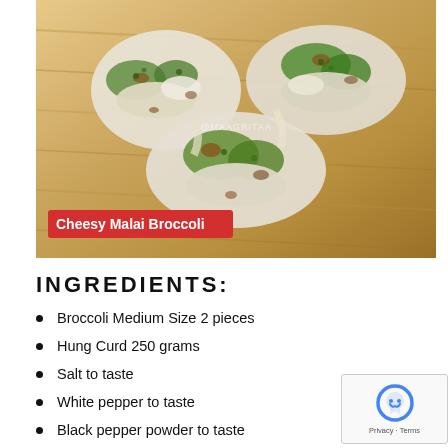[Figure (photo): Cheesy Malai Broccoli dish on a wooden cutting board, showing broccoli florets covered with melted cheese, with a red label overlay reading 'Cheesy Malai Broccoli' and a watermark '@MAAGRITAA']
INGREDIENTS:
Broccoli Medium Size 2 pieces
Hung Curd 250 grams
Salt to taste
White pepper to taste
Black pepper powder to taste